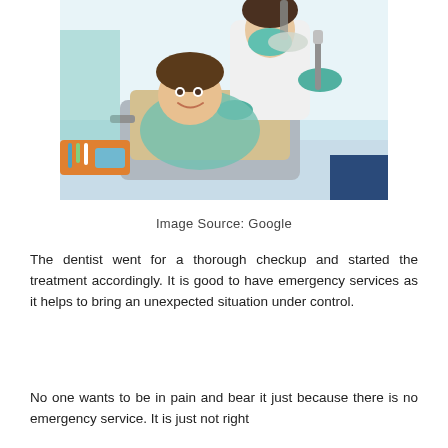[Figure (photo): A child patient lying in a dental chair smiling, with a masked dentist in white coat and teal gloves standing behind holding dental equipment. Dental office setting with equipment visible.]
Image Source: Google
The dentist went for a thorough checkup and started the treatment accordingly. It is good to have emergency services as it helps to bring an unexpected situation under control.
No one wants to be in pain and bear it just because there is no emergency service. It is just not right